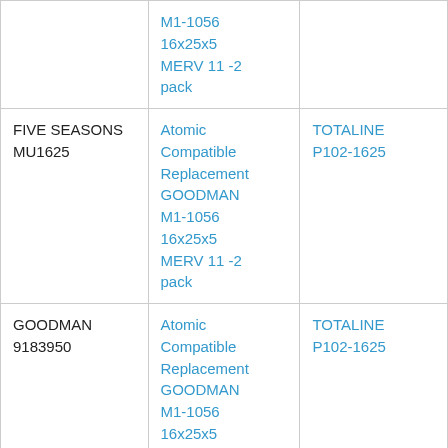| (Brand/Model) | (Replacement Product) | (Cross Reference) |
| --- | --- | --- |
|  | M1-1056
16x25x5
MERV 11 -2 pack |  |
| FIVE SEASONS MU1625 | Atomic Compatible Replacement GOODMAN M1-1056 16x25x5 MERV 11 -2 pack | TOTALINE P102-1625 |
| GOODMAN 9183950 | Atomic Compatible Replacement GOODMAN M1-1056 16x25x5 MERV 11 -2 pack | TOTALINE P102-1625 |